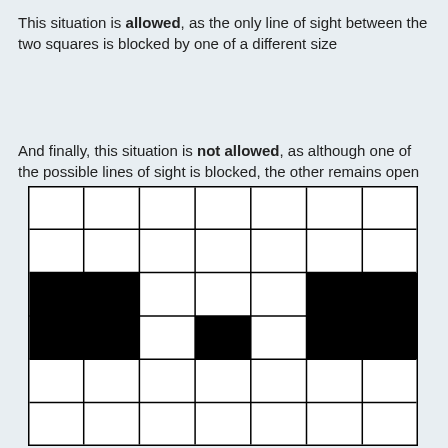This situation is allowed, as the only line of sight between the two squares is blocked by one of a different size
And finally, this situation is not allowed, as although one of the possible lines of sight is blocked, the other remains open
[Figure (other): A 7x6 grid with some black filled cells forming a pattern. Rows 1-2 have all white cells across 7 columns. Row 3 has black in columns 1-2 and 6-7, white in 3-5. Row 4 has black in column 1-2 (continuing), white in 3, black in 4, white in 5, black in 6-7 (continuing). Row 5 has all white cells. Row 6 has all white cells (partially visible).]